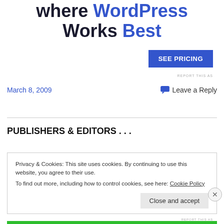where WordPress Works Best
SEE PRICING
REPORT THIS AS
March 8, 2009
Leave a Reply
PUBLISHERS & EDITORS . . .
Privacy & Cookies: This site uses cookies. By continuing to use this website, you agree to their use.
To find out more, including how to control cookies, see here: Cookie Policy
Close and accept